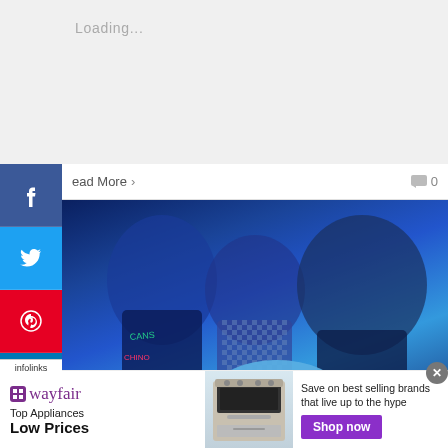Loading...
Read More > 0
[Figure (photo): Fashion photo with blue tint showing three people posing, wearing stylish clothing with text-printed pants, against a blue background]
[Figure (screenshot): Wayfair advertisement: Top Appliances, Low Prices. Save on best selling brands that live up to the hype. Shop now button. Shows oven/range image.]
infolinks